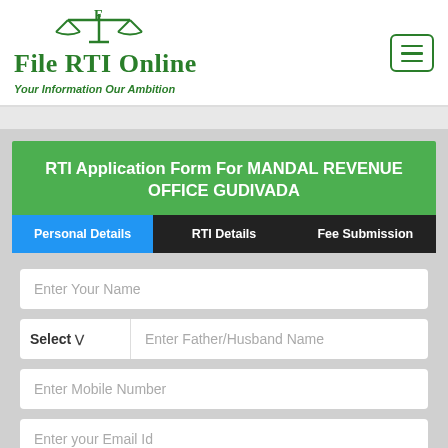[Figure (logo): File RTI Online logo with scales of justice icon, green text, tagline 'Your Information Our Ambition']
RTI Application Form For MANDAL REVENUE OFFICE GUDIVADA
Personal Details | RTI Details | Fee Submission
Enter Your Name
Select | Enter Father/Husband Name
Enter Mobile Number
Enter your Email Id